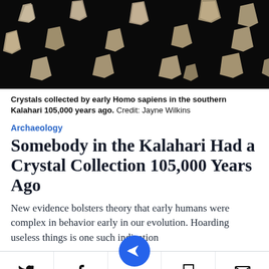[Figure (photo): Crystals collected by early Homo sapiens arranged on a black background]
Crystals collected by early Homo sapiens in the southern Kalahari 105,000 years ago.  Credit: Jayne Wilkins
Archaeology
Somebody in the Kalahari Had a Crystal Collection 105,000 Years Ago
New evidence bolsters theory that early humans were complex in behavior early in our evolution. Hoarding useless things is one such indication